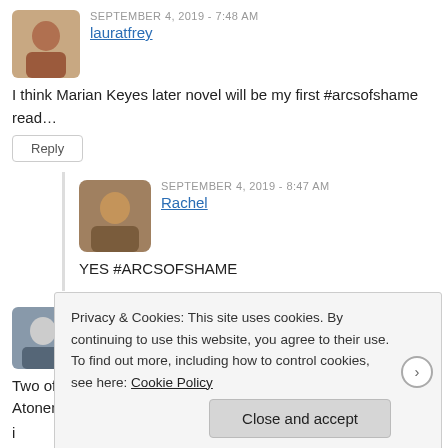SEPTEMBER 4, 2019 - 7:48 AM
lauratfrey
I think Marian Keyes later novel will be my first #arcsofshame read...
Reply
SEPTEMBER 4, 2019 - 8:47 AM
Rachel
YES #ARCSOFSHAME
SEPTEMBER 3, 2019 - 3:00 PM
BookerTalk
Two of my favourite books are on your list – Blind Assassin and Atonement. Also was wowed by The Tipping Point. You raise an
Privacy & Cookies: This site uses cookies. By continuing to use this website, you agree to their use.
To find out more, including how to control cookies, see here: Cookie Policy
Close and accept